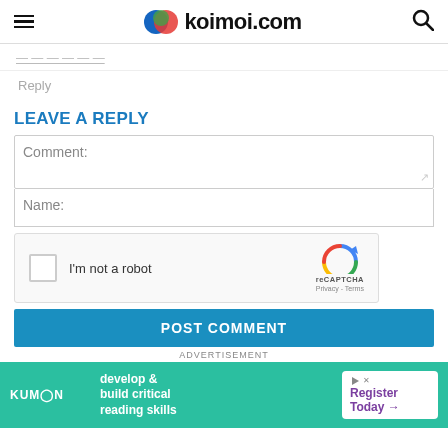koimoi.com
Reply
LEAVE A REPLY
Comment:
Name:
[Figure (screenshot): reCAPTCHA widget with checkbox labeled 'I'm not a robot' and reCAPTCHA logo with Privacy - Terms links]
POST COMMENT
ADVERTISEMENT
[Figure (infographic): Kumon advertisement banner: 'develop & build critical reading skills' with 'Register Today' call to action]